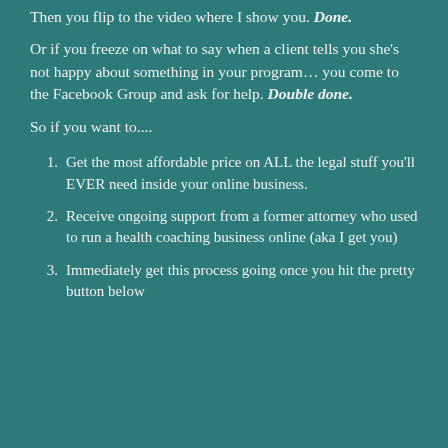Then you flip to the video where I show you. Done.
Or if you freeze on what to say when a client tells you she's not happy about something in your program… you come to the Facebook Group and ask for help. Double done.
So if you want to....
Get the most affordable price on ALL the legal stuff you'll EVER need inside your online business.
Receive ongoing support from a former attorney who used to run a health coaching business online (aka I get you)
Immediately get this process going once you hit the pretty button below